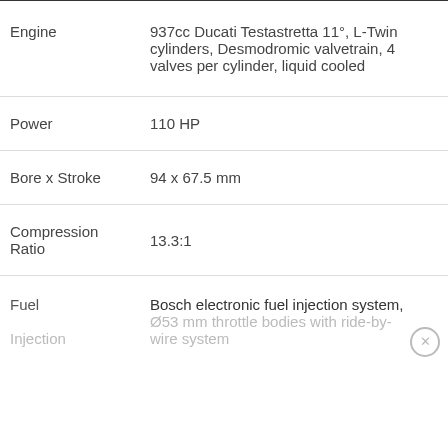| Specification | Value |
| --- | --- |
| Engine | 937cc Ducati Testastretta 11°, L-Twin cylinders, Desmodromic valvetrain, 4 valves per cylinder, liquid cooled |
| Power | 110 HP |
| Bore x Stroke | 94 x 67.5 mm |
| Compression Ratio | 13.3:1 |
| Fuel | Bosch electronic fuel injection system, Ø53 mm throttle bodies with ride-by-wire system |